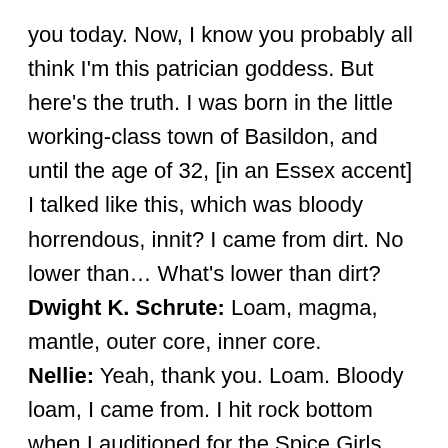you today. Now, I know you probably all think I'm this patrician goddess. But here's the truth. I was born in the little working-class town of Basildon, and until the age of 32, [in an Essex accent] I talked like this, which was bloody horrendous, innit? I came from dirt. No lower than… What's lower than dirt?
Dwight K. Schrute: Loam, magma, mantle, outer core, inner core.
Nellie: Yeah, thank you. Loam. Bloody loam, I came from. I hit rock bottom when I auditioned for the Spice Girls. [emotional] I didn't even get a callback.
Jim: Which Spice Girl?